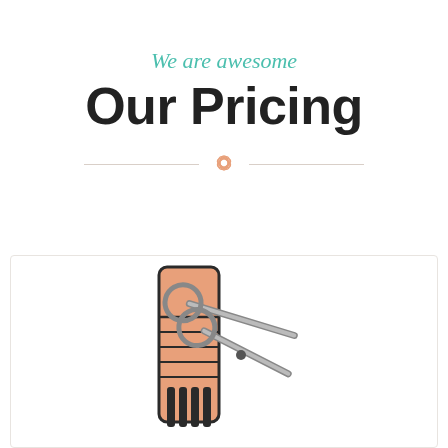We are awesome
Our Pricing
[Figure (illustration): Decorative divider with lotus flower icon and horizontal lines on either side]
[Figure (illustration): Illustration of a hair comb and scissors, representing a hair salon pricing section, partially cropped at the bottom of the page]